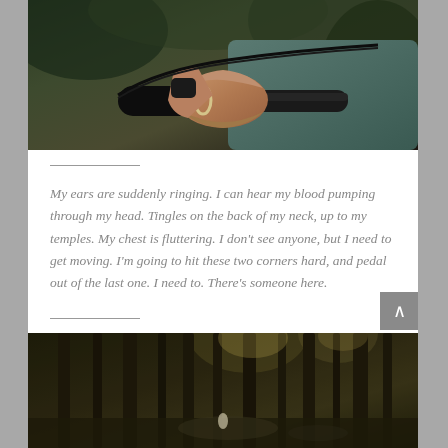[Figure (photo): Close-up photo of a person's hand gripping a bicycle handlebar, wearing a ring, with green foliage in the background. Person wearing a teal/grey shirt.]
My ears are suddenly ringing. I can hear my blood pumping through my head. Tingles on the back of my neck, up to my temples. My chest is fluttering. I don't see anyone, but I need to get moving. I'm going to hit these two corners hard, and pedal out of the last one. I need to. There's someone here.
[Figure (photo): Photo of a dark forest with tall thin trees, dim lighting filtering through the canopy, moody and atmospheric woodland scene.]